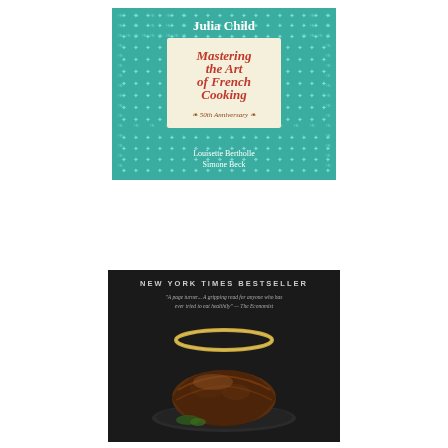[Figure (illustration): Book cover of 'Mastering the Art of French Cooking' 50th Anniversary edition by Julia Child, Louisette Bertholle, and Simone Beck. Teal/turquoise background with white fleur-de-lis pattern, cream central panel with red serif title text, author name in white at top.]
[Figure (illustration): Dark book cover with 'NEW YORK TIMES BESTSELLER' text at top, a quote in small text, a gold ring/circle floating above a roasted meat dish on a dark plate, against a very dark background.]